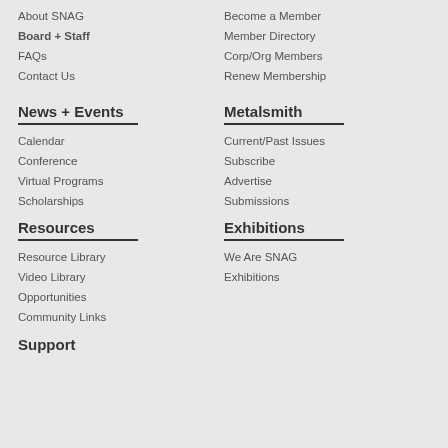About SNAG
Board + Staff
FAQs
Contact Us
Become a Member
Member Directory
Corp/Org Members
Renew Membership
News + Events
Metalsmith
Calendar
Current/Past Issues
Conference
Subscribe
Virtual Programs
Advertise
Scholarships
Submissions
Resources
Exhibitions
Resource Library
We Are SNAG
Video Library
Exhibitions
Opportunities
Community Links
Support